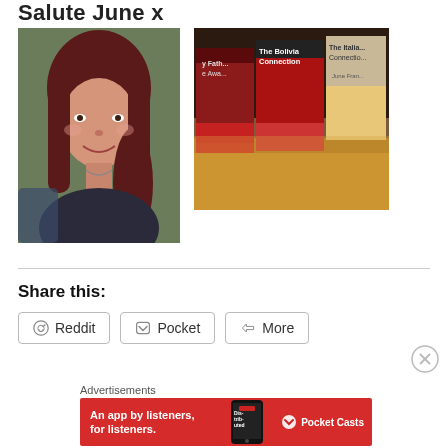Salute June x
[Figure (photo): Portrait photo of a woman with dark red hair, smiling, with trees in the background]
[Figure (photo): Photo of book covers on a shelf, including 'The Bolivia Connection' and 'The Italia Connection']
Share this:
Reddit  Pocket  More
Advertisements
[Figure (screenshot): Pocket Casts advertisement banner: 'An app by listeners, for listeners.']